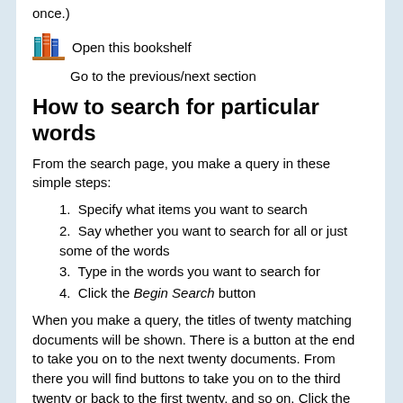once.)
[Figure (illustration): Bookshelf icon with colorful books]
Open this bookshelf
Go to the previous/next section
How to search for particular words
From the search page, you make a query in these simple steps:
Specify what items you want to search
Say whether you want to search for all or just some of the words
Type in the words you want to search for
Click the Begin Search button
When you make a query, the titles of twenty matching documents will be shown. There is a button at the end to take you on to the next twenty documents. From there you will find buttons to take you on to the third twenty or back to the first twenty, and so on. Click the title of any document, or the little button beside it, to see it.
A maximum of 50 is imposed on the number of documents returned. You can change this number by clicking the PREFERENCES button at the top of the page.